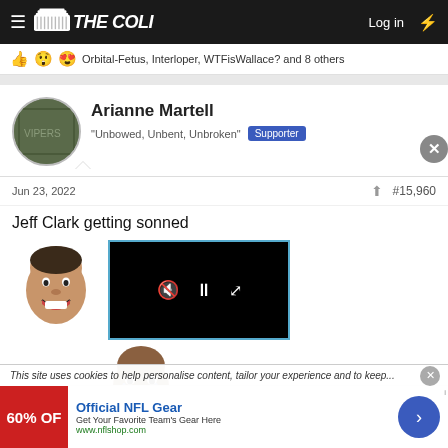THE COLI — Log in
Orbital-Fetus, Interloper, WTFisWallace? and 8 others
Arianne Martell
"Unbowed, Unbent, Unbroken" Supporter
Jun 23, 2022  #15,960
Jeff Clark getting sonned
[Figure (photo): Meme face of Tupac smiling]
[Figure (screenshot): Embedded video player with mute, pause, and fullscreen controls on black background]
[Figure (photo): Crying Michael Jordan meme face]
This site uses cookies to help personalise content, tailor your experience and to keep...
Official NFL Gear — Get Your Favorite Team's Gear Here — www.nflshop.com